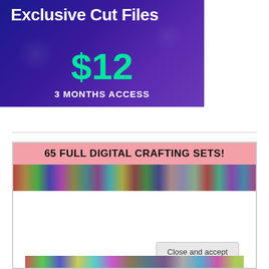[Figure (illustration): Advertisement banner with dark blue/purple gradient background showing scissors silhouettes, large white bold text 'Exclusive Cut Files', green price '$12', white text '3 MONTHS ACCESS']
[Figure (infographic): Product promotional image with pink banner reading '65 FULL DIGITAL CRAFTING SETS!' and a colorful strip of crafting product thumbnails below]
Privacy & Cookies: This site uses cookies. By continuing to use this website, you agree to their use.
To find out more, including how to control cookies, see here: Our Cookie Policy
Close and accept